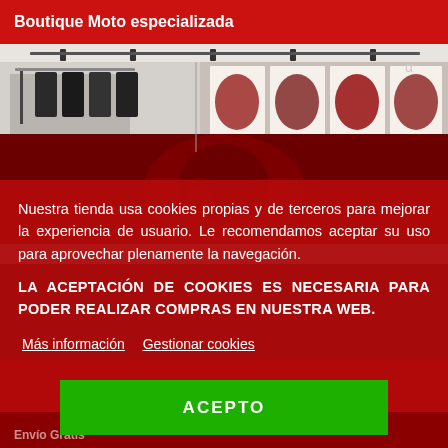Boutique Moto especializada
[Figure (photo): Interior of a motorcycle boutique shop showing display racks with motorcycle gear and apparel hanging on walls. Red-toned lower half with store decorations.]
Nuestra tienda usa cookies propias y de terceros para mejorar la experiencia de usuario. Le recomendamos aceptar su uso para aprovechar plenamente la navegación.
LA ACEPTACIÓN DE COOKIES ES NECESARIA PARA PODER REALIZAR COMPRAS EN NUESTRA WEB.
Más información
Gestionar cookies
ACEPTO
Envío Gratis